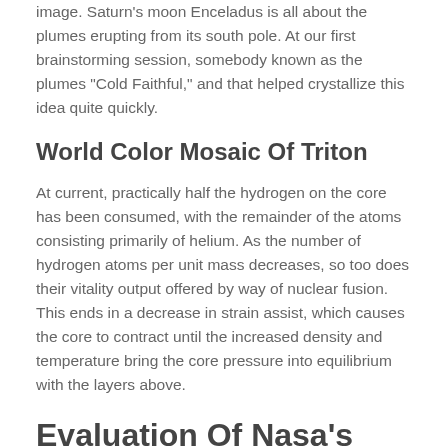image. Saturn's moon Enceladus is all about the plumes erupting from its south pole. At our first brainstorming session, somebody known as the plumes "Cold Faithful," and that helped crystallize this idea quite quickly.
World Color Mosaic Of Triton
At current, practically half the hydrogen on the core has been consumed, with the remainder of the atoms consisting primarily of helium. As the number of hydrogen atoms per unit mass decreases, so too does their vitality output offered by way of nuclear fusion. This ends in a decrease in strain assist, which causes the core to contract until the increased density and temperature bring the core pressure into equilibrium with the layers above.
Evaluation Of Nasa's Proof Reports On Human Health Risks